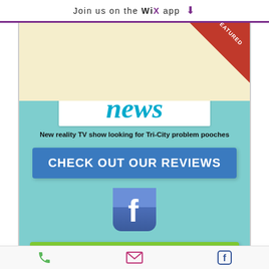Join us on the WiX app ⬇
[Figure (infographic): Featured diagonal ribbon banner in top-right corner of a light yellow background section]
[Figure (logo): Tri City News logo with 'TRICITY' in small bold text above large italic teal 'news' lettering on white background]
New reality TV show looking for Tri-City problem pooches
[Figure (infographic): Blue button with white bold text: CHECK OUT OUR REVIEWS]
[Figure (logo): Facebook logo icon - blue rounded square with white 'f' letter]
[Figure (infographic): Green button with dark bold serif text: Testimonials]
phone icon | email icon | facebook icon